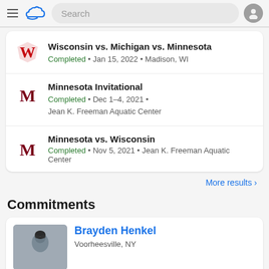[Figure (screenshot): Mobile app navigation bar with hamburger menu, cloud logo, search bar, and user avatar]
Wisconsin vs. Michigan vs. Minnesota
Completed • Jan 15, 2022 • Madison, WI
Minnesota Invitational
Completed • Dec 1–4, 2021 •
Jean K. Freeman Aquatic Center
Minnesota vs. Wisconsin
Completed • Nov 5, 2021 • Jean K. Freeman Aquatic Center
More results >
Commitments
Brayden Henkel
Voorheesville, NY